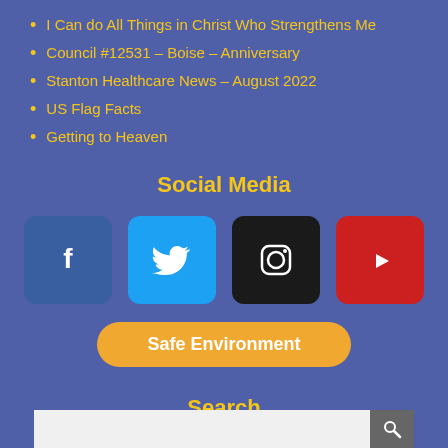I Can do All Things in Christ Who Strengthens Me
Council #12531 – Boise – Anniversary
Stanton Healthcare News – August 2022
US Flag Facts
Getting to Heaven
Social Media
[Figure (infographic): Social media icons: Facebook (blue), Twitter (light blue), Instagram (black), YouTube (red)]
Safe Environment
Search